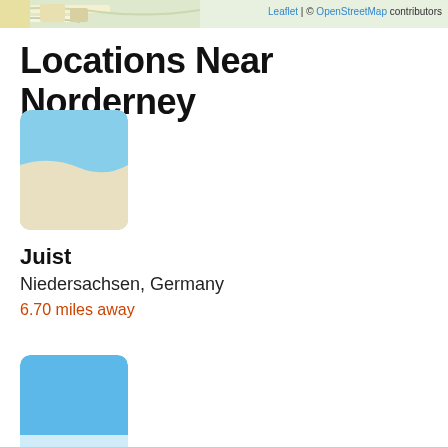[Figure (map): Top strip of an OpenStreetMap map showing roads and land features near Norderney, with Leaflet attribution and OpenStreetMap contributors credit in top right.]
Locations Near Norderney
[Figure (map): Thumbnail map image for Juist location showing sky-blue upper area (water) and beige/cream lower area (land/beach), with rounded corners.]
Juist
Niedersachsen, Germany
6.70 miles away
[Figure (map): Thumbnail map image showing mostly solid sky-blue color (water) with a lighter blue-white bottom section, rounded corners, partially cut off at bottom of page.]